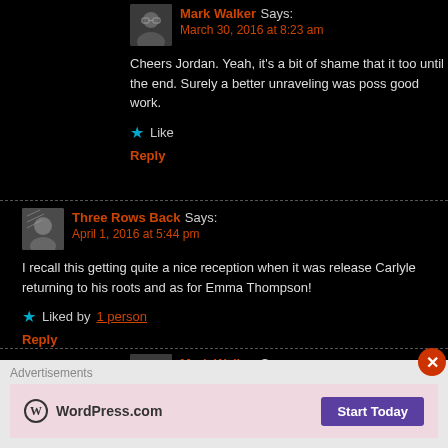Mark Walker Says: March 30, 2016 at 8:23 am
Cheers Jordan. Yeah, it's a bit of shame that it too until the end. Surely a better unraveling was poss good work.
Like
Reply
Three Rows Back Says: April 1, 2016 at 5:44 pm
I recall this getting quite a nice reception when it was release Carlyle returning to his roots and as for Emma Thompson!
Liked by 1 person
Reply
Mark Walker Says: April 2, 2016 at 7:43 pm
Most of the reviews I've read have been less than
Advertisements
[Figure (screenshot): WordPress.com advertisement with logo and Start Today button]